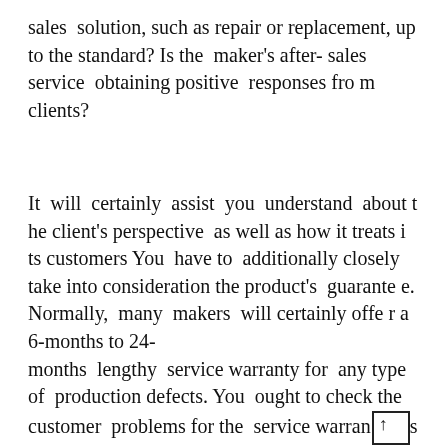sales solution, such as repair or replacement, up to the standard? Is the maker's after-sales service obtaining positive responses from clients?
It will certainly assist you understand about the client's perspective as well as how it treats its customers You have to additionally closely take into consideration the product's guarantee. Normally, many makers will certainly offer a 6-months to 24-months lengthy service warranty for any type of production defects. You ought to check the customer problems for the service warranty so that it does not deceive you either.